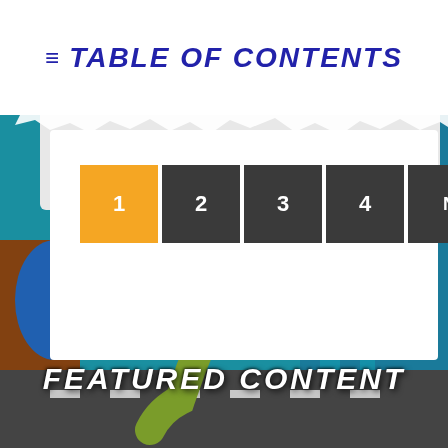≡ TABLE OF CONTENTS
[Figure (infographic): Pagination navigation bar with buttons numbered 1 (active, orange), 2, 3, 4 (dark grey), and Next Page >> (dark grey)]
[Figure (illustration): Comic book style illustration showing superhero characters fighting on a city rooftop. A green muscular villain grapples with a red-haired female hero in a blue top, while an armored hero in blue is visible in the background. A teal building fills the background.]
FEATURED CONTENT